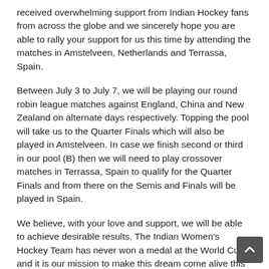received overwhelming support from Indian Hockey fans from across the globe and we sincerely hope you are able to rally your support for us this time by attending the matches in Amstelveen, Netherlands and Terrassa, Spain.
Between July 3 to July 7, we will be playing our round robin league matches against England, China and New Zealand on alternate days respectively. Topping the pool will take us to the Quarter Finals which will also be played in Amstelveen. In case we finish second or third in our pool (B) then we will need to play crossover matches in Terrassa, Spain to qualify for the Quarter Finals and from there on the Semis and Finals will be played in Spain.
We believe, with your love and support, we will be able to achieve desirable results. The Indian Women's Hockey Team has never won a medal at the World Cup and it is our mission to make this dream come alive this time.
At the Olympic Games in Tokyo, we fought with all our heart and came so close to winning a medal. Our